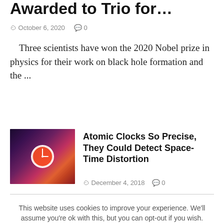Awarded to Trio for…
October 6, 2020  0
Three scientists have won the 2020 Nobel prize in physics for their work on black hole formation and the ...
[Figure (photo): Artistic image of clocks in a cosmic nebula background, representing atomic clocks and space-time]
Atomic Clocks So Precise, They Could Detect Space-Time Distortion
December 4, 2018  0
This website uses cookies to improve your experience. We'll assume you're ok with this, but you can opt-out if you wish.
Accept   Reject   Read More